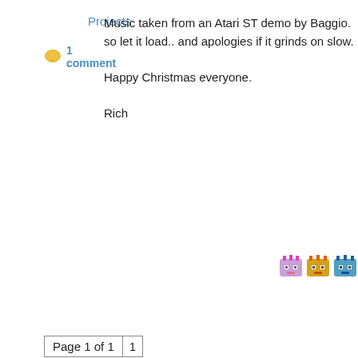Projects
1 comment
Music taken from an Atari ST demo by Baggio. so let it load.. and apologies if it grinds on slow.

Happy Christmas everyone.

Rich
[Figure (illustration): Three small pixel-art avatar icons]
Page 1 of 1  1